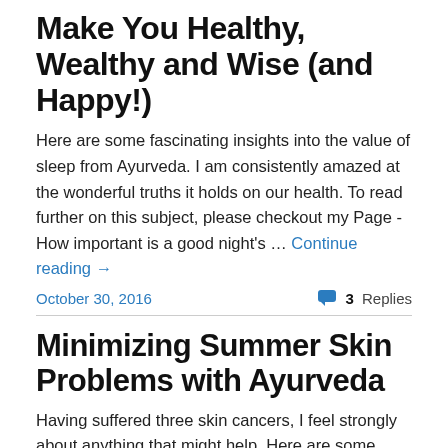Make You Healthy, Wealthy and Wise (and Happy!)
Here are some fascinating insights into the value of sleep from Ayurveda. I am consistently amazed at the wonderful truths it holds on our health. To read further on this subject, please checkout my Page - How important is a good night's … Continue reading →
October 30, 2016
3 Replies
Minimizing Summer Skin Problems with Ayurveda
Having suffered three skin cancers, I feel strongly about anything that might help. Here are some wise words that